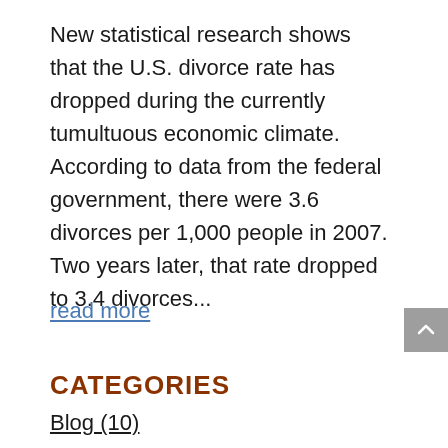New statistical research shows that the U.S. divorce rate has dropped during the currently tumultuous economic climate. According to data from the federal government, there were 3.6 divorces per 1,000 people in 2007. Two years later, that rate dropped to 3.4 divorces...
read more
CATEGORIES
Blog (10)
Child Cusody (8)
Child Custody (2)